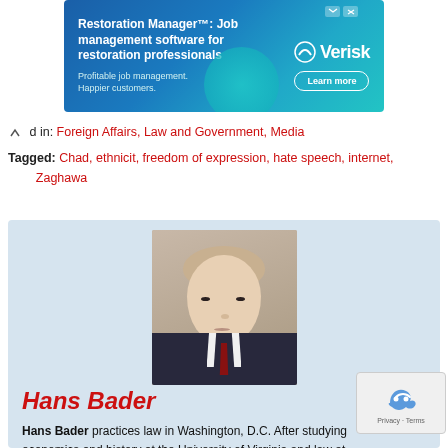[Figure (screenshot): Blue advertisement banner for Verisk Restoration Manager job management software]
Filed in: Foreign Affairs, Law and Government, Media
Tagged: Chad, ethnicit, freedom of expression, hate speech, internet, Zaghawa
[Figure (photo): Headshot photo of Hans Bader, a man in a dark suit with red tie]
Hans Bader
Hans Bader practices law in Washington, D.C. After studying economics and history at the University of Virginia and law at Harvard, he practiced civil-rights,